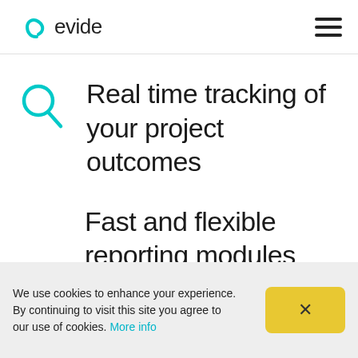evide
Real time tracking of your project outcomes
Fast and flexible reporting modules with
We use cookies to enhance your experience. By continuing to visit this site you agree to our use of cookies. More info